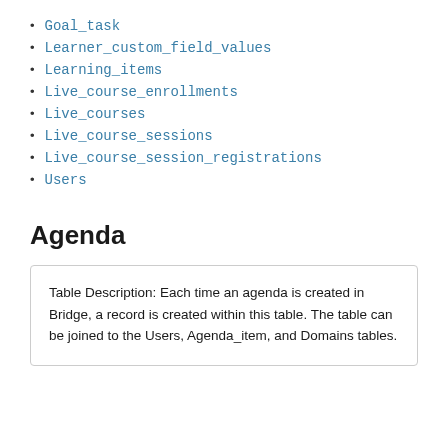Goal_task
Learner_custom_field_values
Learning_items
Live_course_enrollments
Live_courses
Live_course_sessions
Live_course_session_registrations
Users
Agenda
Table Description: Each time an agenda is created in Bridge, a record is created within this table. The table can be joined to the Users, Agenda_item, and Domains tables.